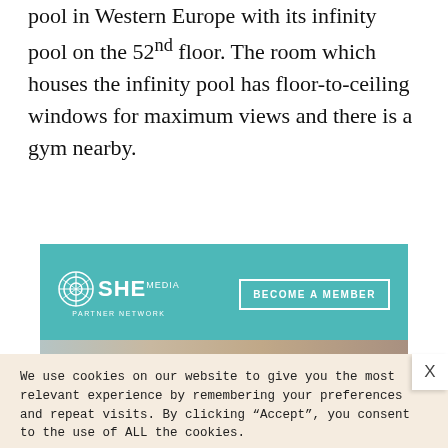pool in Western Europe with its infinity pool on the 52nd floor. The room which houses the infinity pool has floor-to-ceiling windows for maximum views and there is a gym nearby.
[Figure (advertisement): SHE Media Partner Network teal advertisement banner with 'BECOME A MEMBER' button]
We use cookies on our website to give you the most relevant experience by remembering your preferences and repeat visits. By clicking “Accept”, you consent to the use of ALL the cookies.
Do not sell my personal information.
[Figure (advertisement): SHE Media Partner Network bottom teal advertisement banner with woman photo, bullet points about earning and traffic, and LEARN MORE button]